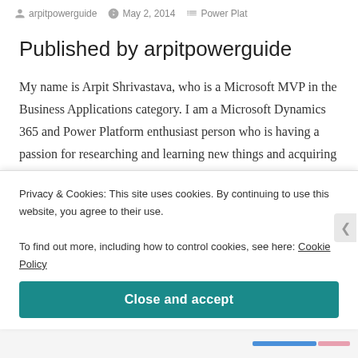arpitpowerguide   May 2, 2014   Power Plat
Published by arpitpowerguide
My name is Arpit Shrivastava, who is a Microsoft MVP in the Business Applications category. I am a Microsoft Dynamics 365 and Power Platform enthusiast person who is having a passion for researching and learning new things and acquiring immense knowledge. I am providing consistent help, support, and sharing my
Privacy & Cookies: This site uses cookies. By continuing to use this website, you agree to their use.
To find out more, including how to control cookies, see here: Cookie Policy
Close and accept